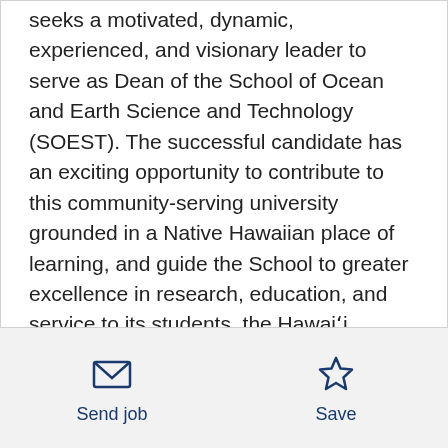seeks a motivated, dynamic, experienced, and visionary leader to serve as Dean of the School of Ocean and Earth Science and Technology (SOEST). The successful candidate has an exciting opportunity to contribute to this community-serving university grounded in a Native Hawaiian place of learning, and guide the School to greater excellence in research, education, and service to its students, the Hawaiʻi community, and beyond.

Established in 1988, the School of Ocean and Earth Science and Technology (SOEST) is a world-class research and academic institution focused on
[Figure (other): Send job button with envelope icon and Save button with star icon in footer bar]